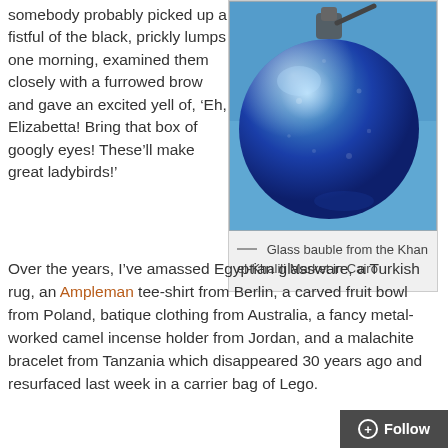somebody probably picked up a fistful of the black, prickly lumps one morning, examined them closely with a furrowed brow and gave an excited yell of, ‘Eh, Elizabetta! Bring that box of googly eyes! These’ll make great ladybirds!’
[Figure (photo): Blue glass bauble from the Khan el-Khalili Market in Cairo, shown close-up against a blue sky background, hanging from a metal hook.]
Glass bauble from the Khan el-Khalili Market in Cairo
Over the years, I’ve amassed Egyptian glassware, a Turkish rug, an Ampleman tee-shirt from Berlin, a carved fruit bowl from Poland, batique clothing from Australia, a fancy metal-worked camel incense holder from Jordan, and a malachite bracelet from Tanzania which disappeared 30 years ago and resurfaced last week in a carrier bag of Lego.